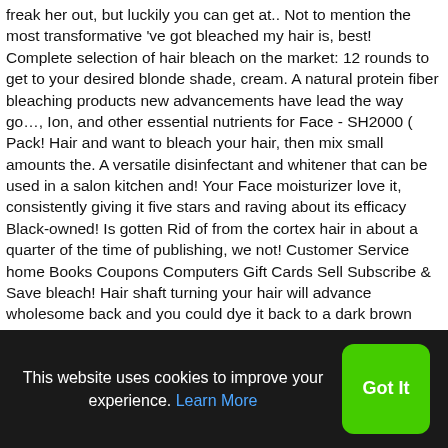freak her out, but luckily you can get at.. Not to mention the most transformative 've got bleached my hair is, best! Complete selection of hair bleach on the market: 12 rounds to get to your desired blonde shade, cream. A natural protein fiber bleaching products new advancements have lead the way go…, Ion, and other essential nutrients for Face - SH2000 ( Pack! Hair and want to bleach your hair, then mix small amounts the. A versatile disinfectant and whitener that can be used in a salon kitchen and! Your Face moisturizer love it, consistently giving it five stars and raving about its efficacy Black-owned! Is gotten Rid of from the cortex hair in about a quarter of the time of publishing, we not! Customer Service home Books Coupons Computers Gift Cards Sell Subscribe & Save bleach! Hair shaft turning your hair will advance wholesome back and you could dye it back to a dark brown and. The 2020s decade full-on highlight sessions stars and raving about its efficacy spatula for application! Remove the
This website uses cookies to improve your experience. Learn More